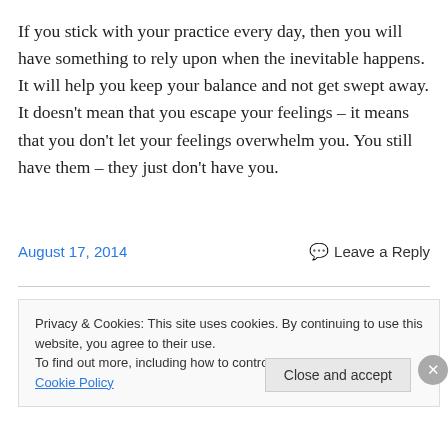If you stick with your practice every day, then you will have something to rely upon when the inevitable happens. It will help you keep your balance and not get swept away. It doesn't mean that you escape your feelings – it means that you don't let your feelings overwhelm you. You still have them – they just don't have you.
August 17, 2014
Leave a Reply
Privacy & Cookies: This site uses cookies. By continuing to use this website, you agree to their use.
To find out more, including how to control cookies, see here: Cookie Policy
Close and accept